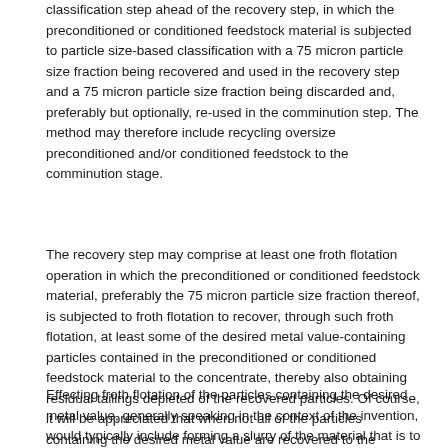classification step ahead of the recovery step, in which the preconditioned or conditioned feedstock material is subjected to particle size-based classification with a 75 micron particle size fraction being recovered and used in the recovery step and a 75 micron particle size fraction being discarded and, preferably but optionally, re-used in the comminution step. The method may therefore include recycling oversize preconditioned and/or conditioned feedstock to the comminution stage.
The recovery step may comprise at least one froth flotation operation in which the preconditioned or conditioned feedstock material, preferably the 75 micron particle size fraction thereof, is subjected to froth flotation to recover, through such froth flotation, at least some of the desired metal value-containing particles contained in the preconditioned or conditioned feedstock material to the concentrate, thereby also obtaining residual tailings depleted of the recovered particles. Of course, it will be appreciated that when not all of the particles containing the desired metal value are recovered to the concentrate, residual desired metal value-containing particles will remain in the tailings, rendering the tailings suitable to be subjected to further froth flotation operations to maximise overall recovery of such particles and therefore also of the desired metal value.
Effecting froth flotation of the particles containing the desired metal value, generally speaking in the context of the invention, would typically include forming a slurry of the material that is to be subjected to froth flotation. The